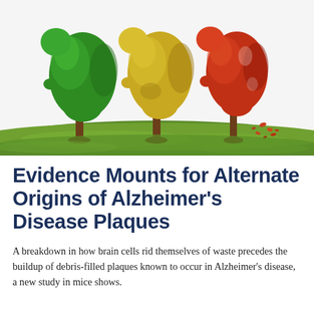[Figure (illustration): Three trees shaped like human heads in profile, arranged left to right. The leftmost tree has full green foliage, representing a healthy brain. The middle tree has yellowing and thinning foliage, representing early decline. The rightmost tree has sparse red-orange leaves falling off, representing advanced Alzheimer's disease. All trees stand on a green grass field with a white sky background.]
Evidence Mounts for Alternate Origins of Alzheimer's Disease Plaques
A breakdown in how brain cells rid themselves of waste precedes the buildup of debris-filled plaques known to occur in Alzheimer's disease, a new study in mice shows.